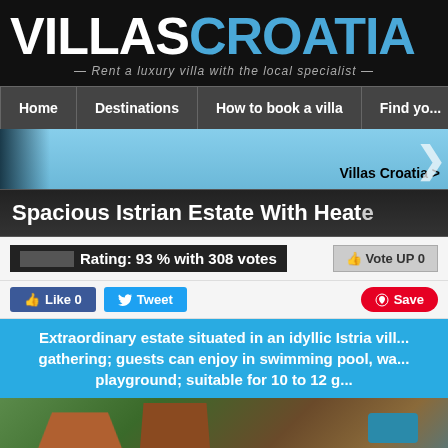VILLAS CROATIA — Rent a luxury villa with the local specialist
Home | Destinations | How to book a villa | Find yo...
Villas Croatia >
Spacious Istrian Estate With Heate...
Rating: 93 % with 308 votes | Vote UP 0
Like 0  Tweet  Save
Extraordinary estate situated in an idyllic Istria vil... gathering; guests can enjoy in swimming pool, wa... playground; suitable for 10 to 12 g...
[Figure (photo): Aerial view of Istrian estate with red-tile roofed buildings, pool, and garden]